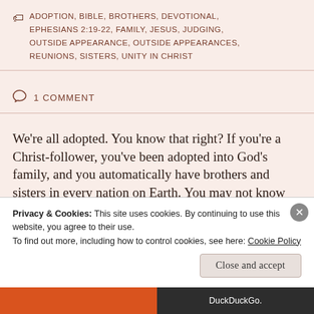ADOPTION, BIBLE, BROTHERS, DEVOTIONAL, EPHESIANS 2:19-22, FAMILY, JESUS, JUDGING, OUTSIDE APPEARANCE, OUTSIDE APPEARANCES, REUNIONS, SISTERS, UNITY IN CHRIST
1 COMMENT
We're all adopted. You know that right? If you're a Christ-follower, you've been adopted into God's family, and you automatically have brothers and sisters in every nation on Earth. You may not know their customs. You may not speak their language
Privacy & Cookies: This site uses cookies. By continuing to use this website, you agree to their use. To find out more, including how to control cookies, see here: Cookie Policy
Close and accept
DuckDuckGo.